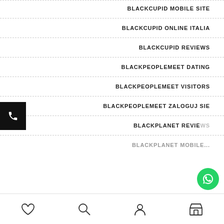BLACKCUPID MOBILE SITE
BLACKCUPID ONLINE ITALIA
BLACKCUPID REVIEWS
BLACKPEOPLEMEET DATING
BLACKPEOPLEMEET VISITORS
BLACKPEOPLEMEET ZALOGUJ SIE
BLACKPLANET REVIE...